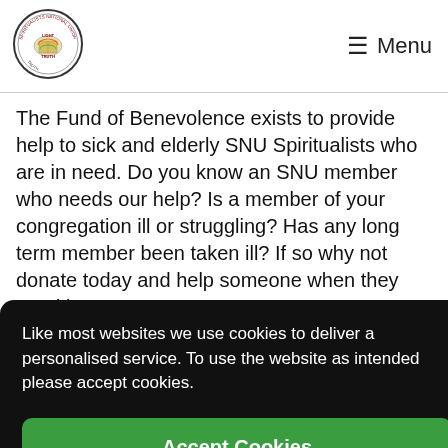[Figure (logo): SNU Spiritualists National Union circular logo with text LIGHT, NATURE, TRUTH]
≡  Menu
The Fund of Benevolence exists to provide help to sick and elderly SNU Spiritualists who are in need. Do you know an SNU member who needs our help? Is a member of your congregation ill or struggling? Has any long term member been taken ill? If so why not donate today and help someone when they need it most.
Like most websites we use cookies to deliver a personalised service. To use the website as intended please accept cookies.
Accept Cookies